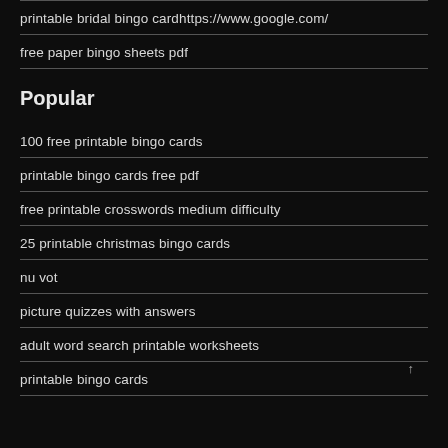printable bridal bingo cardhttps://www.google.com/
free paper bingo sheets pdf
Popular
100 free printable bingo cards
printable bingo cards free pdf
free printable crosswords medium difficulty
25 printable christmas bingo cards
nu vot
picture quizzes with answers
adult word search printable worksheets
printable bingo cards